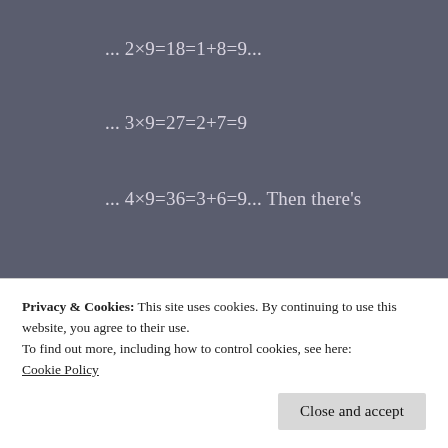also this. All so those
add up big. Times, Places in Deeds. Indeed alikes
Privacy & Cookies: This site uses cookies. By continuing to use this website, you agree to their use.
To find out more, including how to control cookies, see here:
Cookie Policy
Close and accept